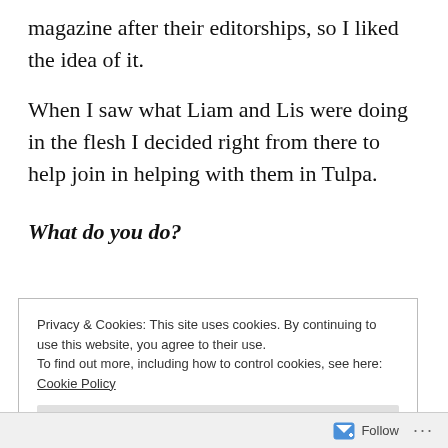magazine after their editorships, so I liked the idea of it.
When I saw what Liam and Lis were doing in the flesh I decided right from there to help join in helping with them in Tulpa.
What do you do?
Privacy & Cookies: This site uses cookies. By continuing to use this website, you agree to their use.
To find out more, including how to control cookies, see here:
Cookie Policy
Follow ...